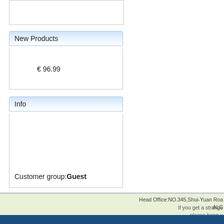[Figure (screenshot): Empty white box panel at top]
New Products
€ 96.99
Info
Customer group:Guest
Head Office:NO.345,Shui-Yuan Roa... ALIC...
If you get a strange... please hang u...